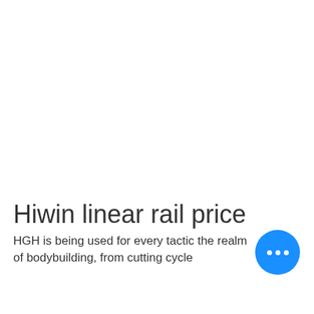Hiwin linear rail price
HGH is being used for every tactic the realm of bodybuilding, from cutting cycle